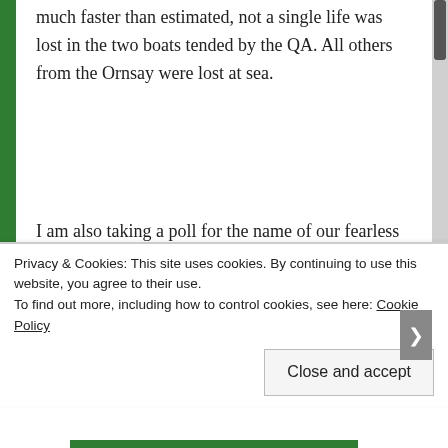much faster than estimated, not a single life was lost in the two boats tended by the QA. All others from the Ornsay were lost at sea.
I am also taking a poll for the name of our fearless heroine.
Vote now:
Margaret "Molly" Leighton
Privacy & Cookies: This site uses cookies. By continuing to use this website, you agree to their use. To find out more, including how to control cookies, see here: Cookie Policy
Close and accept